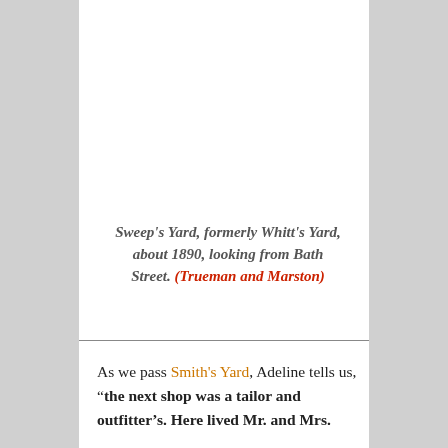Sweep's Yard, formerly Whitt's Yard, about 1890, looking from Bath Street. (Trueman and Marston)
As we pass Smith's Yard, Adeline tells us, "the next shop was a tailor and outfitter's. Here lived Mr. and Mrs.